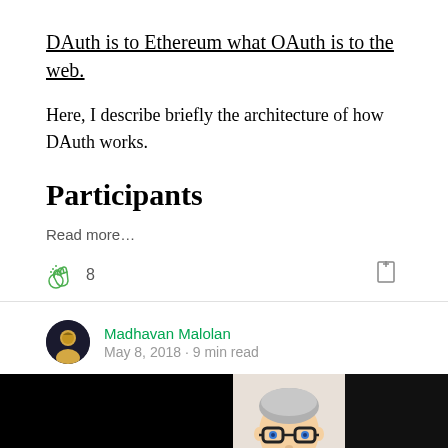DAuth is to Ethereum what OAuth is to the web.
Here, I describe briefly the architecture of how DAuth works.
Participants
Read more…
8
Madhavan Malolan
May 8, 2018 · 9 min read
[Figure (photo): Hero image with black panels on left and right, and a cartoon avatar of a person with grey hair and glasses in the center panel]